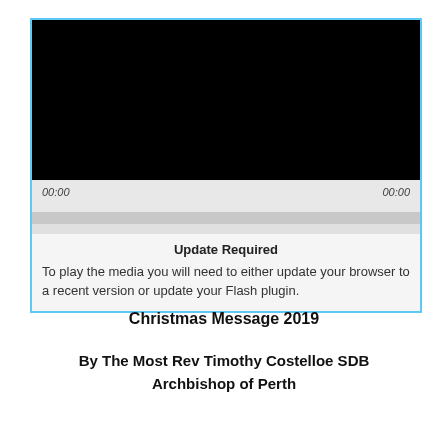[Figure (screenshot): A media player UI showing a black video area at top, a controls bar with timestamps '00:00' on left and '00:00' on right, a progress/scrubber area, and an 'Update Required' message box with text about updating browser or Flash plugin. The player has a blue border.]
Christmas Message 2019
By The Most Rev Timothy Costelloe SDB
Archbishop of Perth